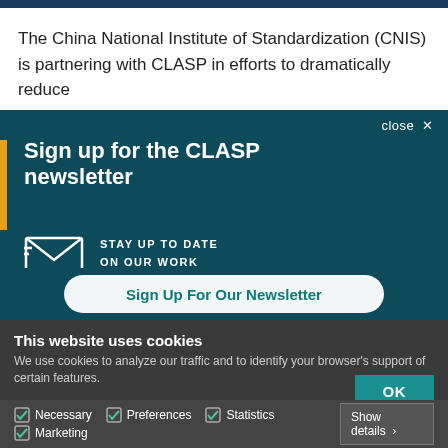The China National Institute of Standardization (CNIS) is partnering with CLASP in efforts to dramatically reduce
[Figure (screenshot): Newsletter signup modal with dark teal background, orange left accent bar, envelope icon, and 'Sign up for the CLASP newsletter' heading with STAY UP TO DATE ON OUR WORK subtext and a Sign Up For Our Newsletter button]
[Figure (screenshot): Cookie consent banner with dark background showing 'This website uses cookies' title, description text, OK button, and checkboxes for Necessary, Preferences, Statistics, Marketing with Show details option]